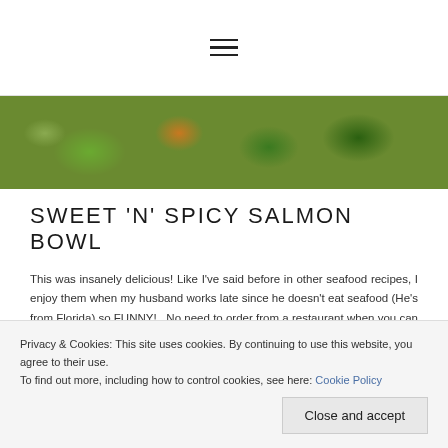[Figure (other): Hamburger menu icon (three horizontal lines) in top navigation bar]
[Figure (photo): Food photo showing a salmon bowl with broccoli, cucumbers, sesame seeds and sauce]
SWEET 'N' SPICY SALMON BOWL
This was insanely delicious! Like I've said before in other seafood recipes, I enjoy them when my husband works late since he doesn't eat seafood (He's from Florida) so FUNNY!  No need to order from a restaurant when you can get the same quality …
Privacy & Cookies: This site uses cookies. By continuing to use this website, you agree to their use.
To find out more, including how to control cookies, see here: Cookie Policy
Close and accept